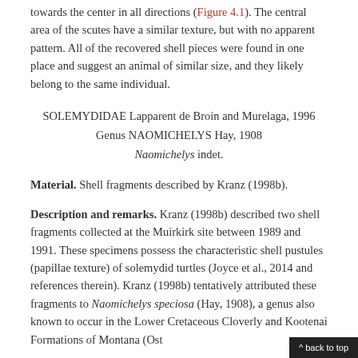towards the center in all directions (Figure 4.1). The central area of the scutes have a similar texture, but with no apparent pattern. All of the recovered shell pieces were found in one place and suggest an animal of similar size, and they likely belong to the same individual.
SOLEMYDIDAE Lapparent de Broin and Murelaga, 1996
Genus NAOMICHELYS Hay, 1908
Naomichelys indet.
Material. Shell fragments described by Kranz (1998b).
Description and remarks. Kranz (1998b) described two shell fragments collected at the Muirkirk site between 1989 and 1991. These specimens possess the characteristic shell pustules (papillae texture) of solemydid turtles (Joyce et al., 2014 and references therein). Kranz (1998b) tentatively attributed these fragments to Naomichelys speciosa (Hay, 1908), a genus also known to occur in the Lower Cretaceous Cloverly and Kootenai Formations of Montana (Ost
^ back to top